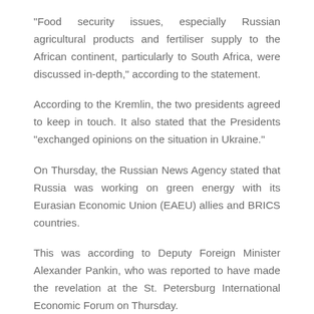“Food security issues, especially Russian agricultural products and fertiliser supply to the African continent, particularly to South Africa, were discussed in-depth,” according to the statement.
According to the Kremlin, the two presidents agreed to keep in touch. It also stated that the Presidents “exchanged opinions on the situation in Ukraine.”
On Thursday, the Russian News Agency stated that Russia was working on green energy with its Eurasian Economic Union (EAEU) allies and BRICS countries.
This was according to Deputy Foreign Minister Alexander Pankin, who was reported to have made the revelation at the St. Petersburg International Economic Forum on Thursday.
“As far as international cooperation is concerned, the